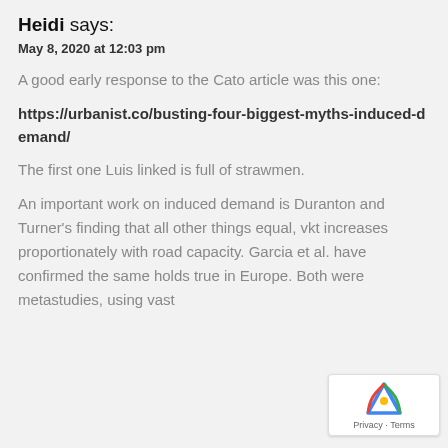Heidi says:
May 8, 2020 at 12:03 pm
A good early response to the Cato article was this one:
https://urbanist.co/busting-four-biggest-myths-induced-demand/
The first one Luis linked is full of strawmen.
An important work on induced demand is Duranton and Turner's finding that all other things equal, vkt increases proportionately with road capacity. Garcia et al. have confirmed the same holds true in Europe. Both were metastudies, using vast